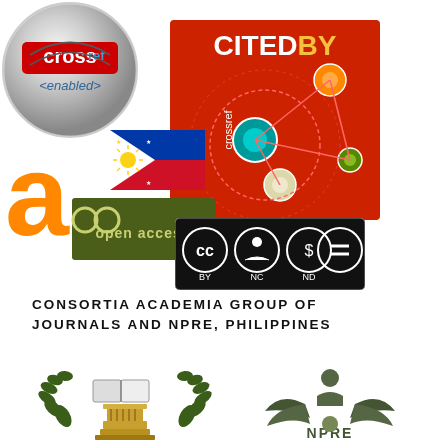[Figure (logo): CrossRef Enabled logo - silver circle with crossref brand and <enabled> text]
[Figure (logo): CrossRef Cited-By logo - red square with network/citation diagram and CITEDBY text]
[Figure (logo): Open Access logo (orange) with Philippine flag and open access text on olive-green background]
[Figure (logo): Creative Commons CC BY NC ND license badge]
CONSORTIA ACADEMIA GROUP OF JOURNALS AND NPRE, PHILIPPINES
[Figure (logo): Consortia Academia journal logo with laurel wreath, book, and Greek column]
[Figure (logo): NPRE logo with person and plant/leaf icons]